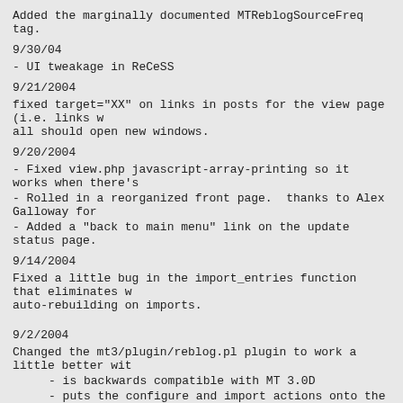Added the marginally documented MTReblogSourceFreq tag.
9/30/04
- UI tweakage in ReCeSS
9/21/2004
fixed target="XX" on links in posts for the view page (i.e. links w all should open new windows.
9/20/2004
- Fixed view.php javascript-array-printing so it works when there's
- Rolled in a reorganized front page.  thanks to Alex Galloway for
- Added a "back to main menu" link on the update status page.
9/14/2004
Fixed a little bug in the import_entries function that eliminates w auto-rebuilding on imports.
9/2/2004
Changed the mt3/plugin/reblog.pl plugin to work a little better wit
- is backwards compatible with MT 3.0D
- puts the configure and import actions onto the Main Menu in the Edit Entries page